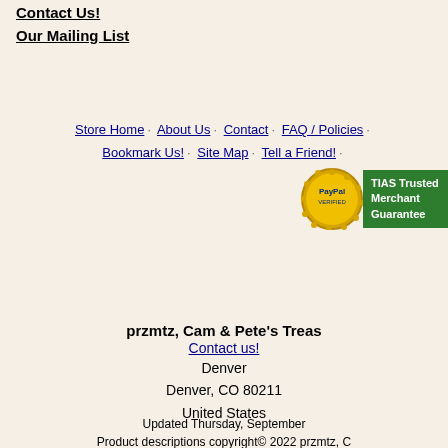Contact Us!
Our Mailing List
Store Home · About Us · Contact · FAQ / Policies · Bookmark Us! · Site Map · Tell a Friend! ·
[Figure (logo): PayPal Verified badge and TIAS Trusted Merchant Guarantee badge]
przmtz, Cam & Pete's Treas Contact us! Denver Denver, CO 80211 United States
Updated Thursday, September Product descriptions copyright© 2022 przmtz, C All else copyright© 1995-2022 TIAS.com